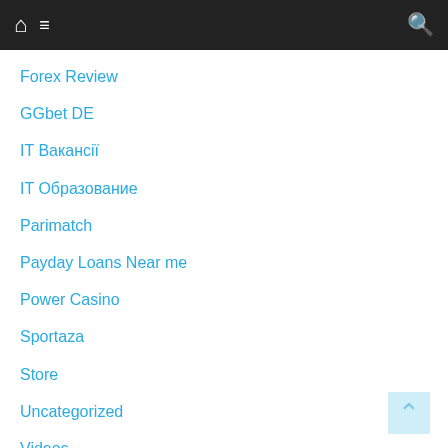Navigation bar with home, menu, and search icons
Forex Review
GGbet DE
IT Вакансії
IT Образование
Parimatch
Payday Loans Near me
Power Casino
Sportaza
Store
Uncategorized
Videos
VulkanBet
Форекс Обучение